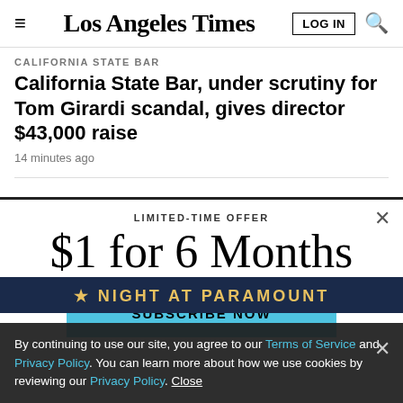Los Angeles Times
CALIFORNIA STATE BAR
California State Bar, under scrutiny for Tom Girardi scandal, gives director $43,000 raise
14 minutes ago
CALIFORNIA
What's the deal with all the turtles in Los Angeles parks?
LIMITED-TIME OFFER
$1 for 6 Months
SUBSCRIBE NOW
By continuing to use our site, you agree to our Terms of Service and Privacy Policy. You can learn more about how we use cookies by reviewing our Privacy Policy. Close